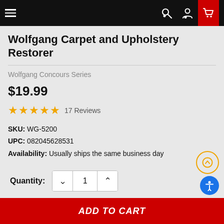Navigation bar with hamburger menu, search, account, and cart icons
Wolfgang Carpet and Upholstery Restorer
Wolfgang Concours Series
$19.99
★★★★★  17 Reviews
SKU: WG-5200
UPC: 082045628531
Availability: Usually ships the same business day
Quantity: 1
ADD TO CART